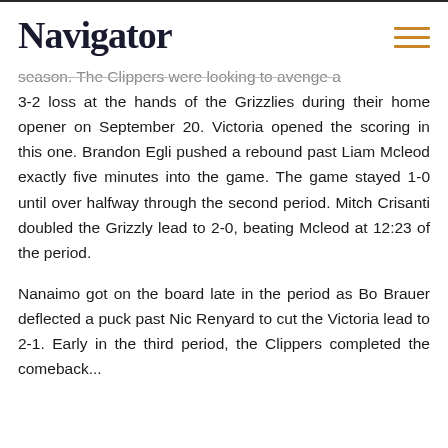Navigator
season. The Clippers were looking to avenge a 3-2 loss at the hands of the Grizzlies during their home opener on September 20. Victoria opened the scoring in this one. Brandon Egli pushed a rebound past Liam Mcleod exactly five minutes into the game. The game stayed 1-0 until over halfway through the second period. Mitch Crisanti doubled the Grizzly lead to 2-0, beating Mcleod at 12:23 of the period.
Nanaimo got on the board late in the period as Bo Brauer deflected a puck past Nic Renyard to cut the Victoria lead to 2-1. Early in the third period, the Clippers completed the comeback...